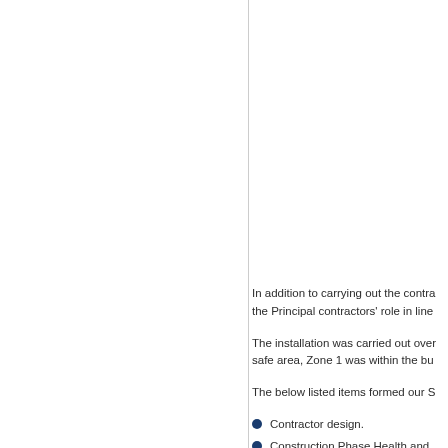In addition to carrying out the contra... the Principal contractors' role in line...
The installation was carried out over... safe area, Zone 1 was within the bu...
The below listed items formed our S...
Contractor design.
Construction Phase Health and...
Project management.